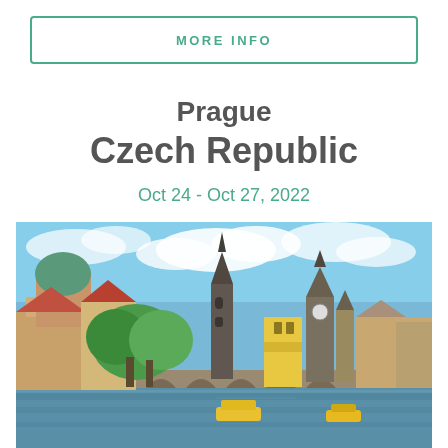MORE INFO
Prague
Czech Republic
Oct 24 - Oct 27, 2022
[Figure (photo): Panoramic view of Prague showing the Charles Bridge over the Vltava River, with historic buildings, gothic towers, a green dome, and colorful facades under a partly cloudy blue sky. Boats visible on the river.]